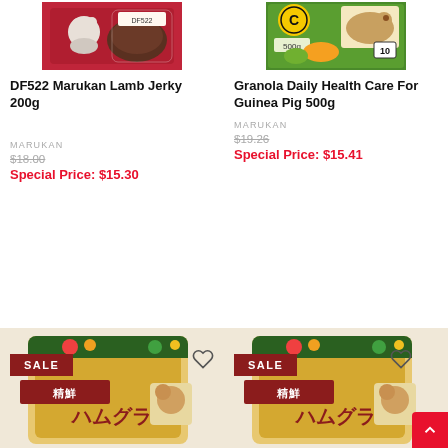[Figure (photo): Product photo of DF522 Marukan Lamb Jerky 200g in red packaging with cartoon dog]
DF522 Marukan Lamb Jerky 200g
MARUKAN
$18.00
Special Price: $15.30
[Figure (photo): Product photo of Granola Daily Health Care For Guinea Pig 500g in green/yellow packaging]
Granola Daily Health Care For Guinea Pig 500g
MARUKAN
$19.26
Special Price: $15.41
[Figure (photo): Product photo of hamster food with SALE badge, Japanese text ハムグラ]
[Figure (photo): Product photo of hamster food with SALE badge, Japanese text ハムグラ]